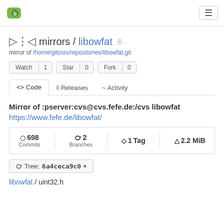[Figure (logo): Gitea logo - green paw print icon]
mirrors / libowfat
mirror of /home/gitosis/repositories/libowfat.git
Watch 1  Star 0  Fork 0
Code  Releases  Activity
Mirror of :pserver:cvs@cvs.fefe.de:/cvs libowfat
https://www.fefe.de/libowfat/
| Commits | Branches | Tag | Size |
| --- | --- | --- | --- |
| 698 | 2 | 1 | 2.2 MiB |
Tree: 6a4ceca9c0 ▾
libowfat / uint32.h